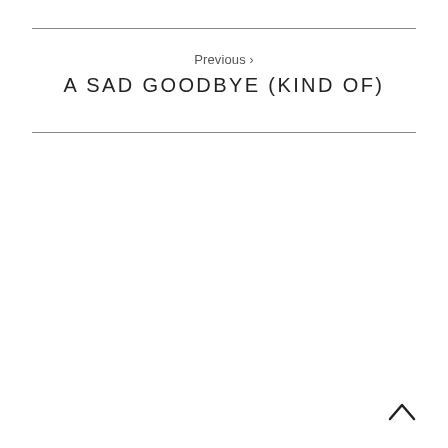Previous >
A SAD GOODBYE (KIND OF)